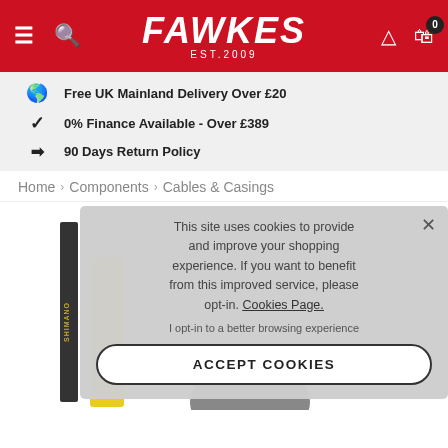FAWKES EST.2009
Free UK Mainland Delivery Over £20
0% Finance Available - Over £389
90 Days Return Policy
Home › Components › Cables & Casings
This site uses cookies to provide and improve your shopping experience. If you want to benefit from this improved service, please opt-in. Cookies Page.

I opt-in to a better browsing experience

ACCEPT COOKIES
[Figure (photo): Product image showing Shimano cables and casings on white background]